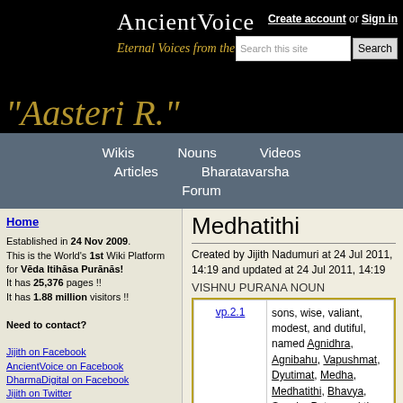AncientVoice — Eternal Voices from the Past | Create account or Sign in | Search
Wikis | Nouns | Videos | Articles | Bharatavarsha | Forum
Home
Established in 24 Nov 2009. This is the World's 1st Wiki Platform for Veda Itihāsa Purānās! It has 25,376 pages !! It has 1.88 million visitors !!
Need to contact?
Jijith on Facebook
AncientVoice on Facebook
DharmaDigital on Facebook
Jijith on Twitter
jijithnrartist@gmail.com
jijithnr@gmail.com
Medhatithi
Created by Jijith Nadumuri at 24 Jul 2011, 14:19 and updated at 24 Jul 2011, 14:19
VISHNU PURANA NOUN
| ref | text |
| --- | --- |
| vp.2.1 | sons, wise, valiant, modest, and dutiful, named Agnidhra, Agnibahu, Vapushmat, Dyutimat, Medha, Medhatithi, Bhavya, Savala, Putra, and the tenth was Jyotishmat 2, illustrious by nature as by name. These were the sons of Priyavrata, famous for strength and prowess. Of these, three, or Medha, Putra, and Agnibahu, adopted a religious life: remembering the occurrences of a prior existence, they did not covet dominion, but diligently |